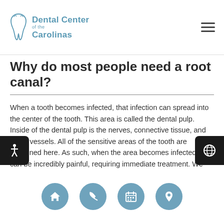Dental Center of the Carolinas
Why do most people need a root canal?
When a tooth becomes infected, that infection can spread into the center of the tooth. This area is called the dental pulp. Inside of the dental pulp is the nerves, connective tissue, and blood vessels. All of the sensitive areas of the tooth are contained here. As such, when the area becomes infected it can be incredibly painful, requiring immediate treatment. We can perform a root canal quickly on people living in and around the Greensboro area.
How does the treatment work?
Navigation icons: home, phone, calendar, location